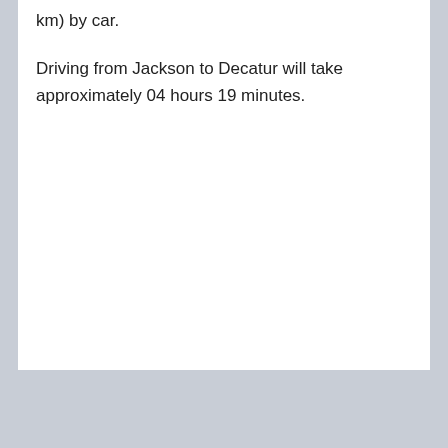km) by car.
Driving from Jackson to Decatur will take approximately 04 hours 19 minutes.